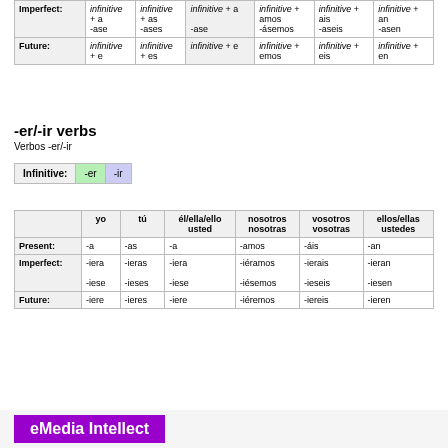|  | yo | tú | él/ella/ello usted | nosotros nosotras | vosotros vosotras | ellos/ellas ustedes |
| --- | --- | --- | --- | --- | --- | --- |
| Imperfect: | infinitive + a
-ase | infinitive + as
-ases | infinitive + a
-ase | infinitive + amos
-ásemos | infinitive + ais
-aseis | infinitive + an
-asen |
| Future: | infinitive + e | infinitive + es | infinitive + e | infinitive + emos | infinitive + eis | infinitive + en |
-er/-ir verbs
Verbos -er/-ir
| Infinitive: | -er | -ir |
| --- | --- | --- |
|  | yo | tú | él/ella/ello usted | nosotros nosotras | vosotros vosotras | ellos/ellas ustedes |
| --- | --- | --- | --- | --- | --- | --- |
| Present: | -a | -as | -a | -amos | -áis | -an |
| Imperfect: | -iera
-iese | -ieras
-ieses | -iera
-iese | -iéramos
-iésemos | -ierais
-ieseis | -ieran
-iesen |
| Future: | -iere | -ieres | -iere | -iéremos | -iereis | -ieren |
eMedia Intellect